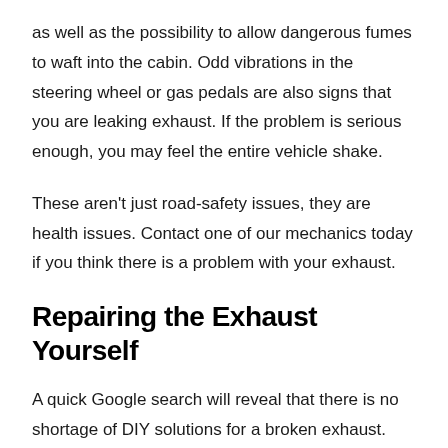as well as the possibility to allow dangerous fumes to waft into the cabin. Odd vibrations in the steering wheel or gas pedals are also signs that you are leaking exhaust. If the problem is serious enough, you may feel the entire vehicle shake.
These aren't just road-safety issues, they are health issues. Contact one of our mechanics today if you think there is a problem with your exhaust.
Repairing the Exhaust Yourself
A quick Google search will reveal that there is no shortage of DIY solutions for a broken exhaust. Many